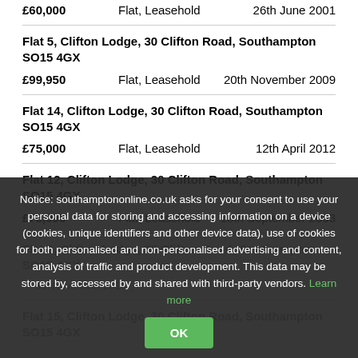£60,000   Flat, Leasehold   26th June 2001
Flat 5, Clifton Lodge, 30 Clifton Road, Southampton SO15 4GX
£99,950   Flat, Leasehold   20th November 2009
Flat 14, Clifton Lodge, 30 Clifton Road, Southampton SO15 4GX
£75,000   Flat, Leasehold   12th April 2012
Flat 12, Clifton Lodge, 30 Clifton Road, Southampton SO15 4GX
£75,995   Flat, Leasehold   18th September 2003
Flat 2, Clifton Lodge, 30 Clifton Road, Southampton SO15 4GX
8th November 2013
Flat 15, Clifton Lodge, 30 Clifton Road, Southampton SO15 4GX
Notice: southamptononline.co.uk asks for your consent to use your personal data for storing and accessing information on a device (cookies, unique identifiers and other device data), use of cookies for both personalised and non-personalised advertising and content, analysis of traffic and product development. This data may be stored by, accessed by and shared with third-party vendors. Learn more